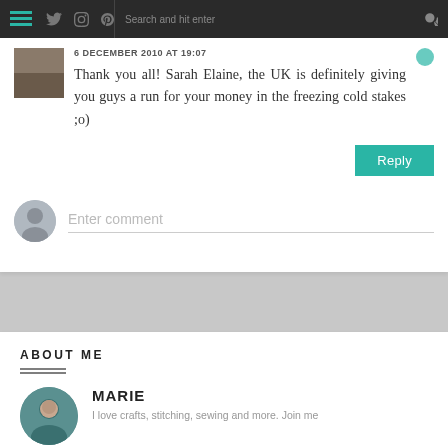Navigation bar with hamburger menu, social icons, search
6 DECEMBER 2010 AT 19:07
Thank you all! Sarah Elaine, the UK is definitely giving you guys a run for your money in the freezing cold stakes ;o)
Reply
Enter comment
ABOUT ME
MARIE